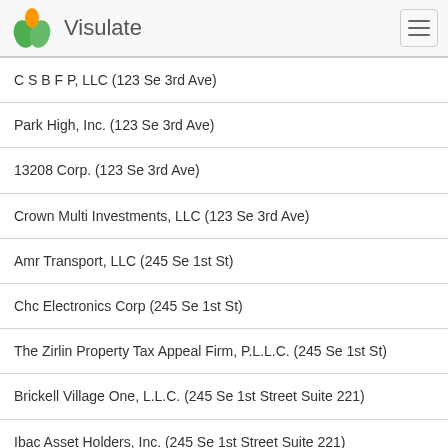Visulate
C S B F P, LLC (123 Se 3rd Ave)
Park High, Inc. (123 Se 3rd Ave)
13208 Corp. (123 Se 3rd Ave)
Crown Multi Investments, LLC (123 Se 3rd Ave)
Amr Transport, LLC (245 Se 1st St)
Chc Electronics Corp (245 Se 1st St)
The Zirlin Property Tax Appeal Firm, P.L.L.C. (245 Se 1st St)
Brickell Village One, L.L.C. (245 Se 1st Street Suite 221)
Ibac Asset Holders, Inc. (245 Se 1st Street Suite 221)
B.V. One Properties Inc. (245 Se 1st Street Suite 221)